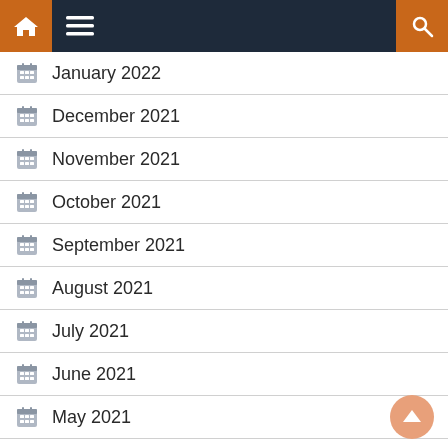Navigation bar with home, menu, and search icons
January 2022
December 2021
November 2021
October 2021
September 2021
August 2021
July 2021
June 2021
May 2021
April 2021